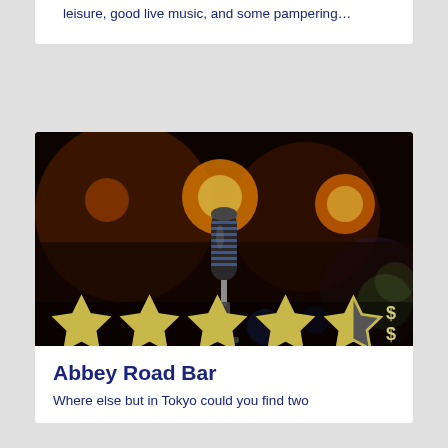leisure, good live music, and some pampering…
[Figure (photo): A vintage chrome microphone on a stand in a dimly lit bar with warm orange bokeh lights in the background. Stars rating (4 out of 5) and price indicator '$$ ' overlay the bottom of the image.]
Abbey Road Bar
Where else but in Tokyo could you find two